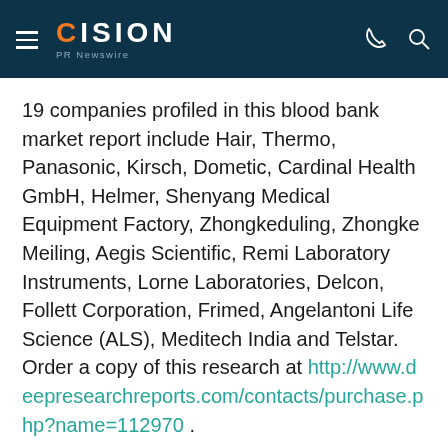CISION PR Newswire
19 companies profiled in this blood bank market report include Hair, Thermo, Panasonic, Kirsch, Dometic, Cardinal Health GmbH, Helmer, Shenyang Medical Equipment Factory, Zhongkeduling, Zhongke Meiling, Aegis Scientific, Remi Laboratory Instruments, Lorne Laboratories, Delcon, Follett Corporation, Frimed, Angelantoni Life Science (ALS), Meditech India and Telstar. Order a copy of this research at http://www.deepresearchreports.com/contacts/purchase.php?name=112970 .
In the end, the export includes Blood Bank new